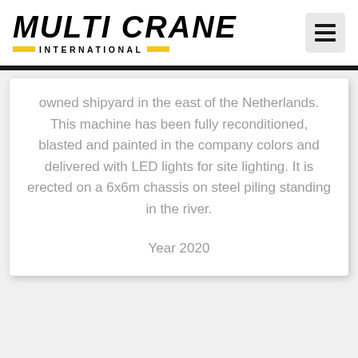[Figure (logo): Multi Crane International logo — bold italic black text with yellow horizontal bars and 'INTERNATIONAL' in spaced capitals between them]
owned shipyard in the east of the Netherlands. This machine has been fully reconditioned, blasted and painted in the company colors and delivered with LED lights for site lighting. It is erected on a 6x6m chassis on steel piling standing in the river.

Year 2020